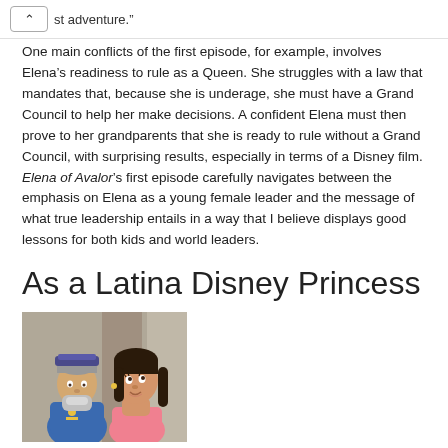st adventure.”
One main conflicts of the first episode, for example, involves Elena’s readiness to rule as a Queen. She struggles with a law that mandates that, because she is underage, she must have a Grand Council to help her make decisions. A confident Elena must then prove to her grandparents that she is ready to rule without a Grand Council, with surprising results, especially in terms of a Disney film. Elena of Avalor’s first episode carefully navigates between the emphasis on Elena as a young female leader and the message of what true leadership entails in a way that I believe displays good lessons for both kids and world leaders.
As a Latina Disney Princess
[Figure (photo): Animated characters from Elena of Avalor: an older male character with grey beard and blue uniform alongside Elena, a young Latina princess in a pink dress]